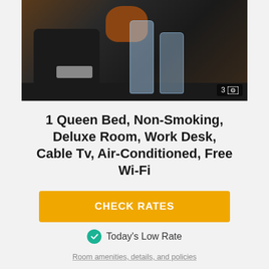[Figure (photo): Hotel room amenities on a dark desk: black Nespresso coffee machine, brown ceramic pot, two Acqua Panna water bottles. Image counter shows 3 photos.]
1 Queen Bed, Non-Smoking, Deluxe Room, Work Desk, Cable Tv, Air-Conditioned, Free Wi-Fi
CHECK RATES
Today's Low Rate
Room amenities, details, and policies